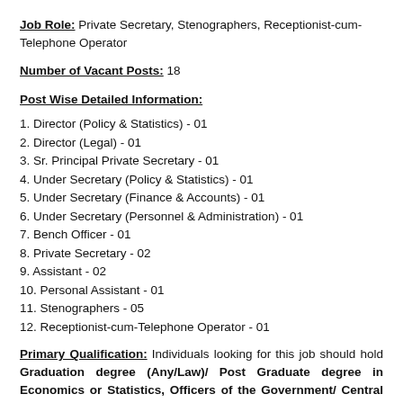Job Role: Private Secretary, Stenographers, Receptionist-cum-Telephone Operator
Number of Vacant Posts: 18
Post Wise Detailed Information:
1. Director (Policy & Statistics) - 01
2. Director (Legal) - 01
3. Sr. Principal Private Secretary - 01
4. Under Secretary (Policy & Statistics) - 01
5. Under Secretary (Finance & Accounts) - 01
6. Under Secretary (Personnel & Administration) - 01
7. Bench Officer - 01
8. Private Secretary - 02
9. Assistant - 02
10. Personal Assistant - 01
11. Stenographers - 05
12. Receptionist-cum-Telephone Operator - 01
Primary Qualification: Individuals looking for this job should hold Graduation degree (Any/Law)/ Post Graduate degree in Economics or Statistics, Officers of the Government/ Central Sector Undertakings Autonomous bodies. from an accredited board / university / institute.